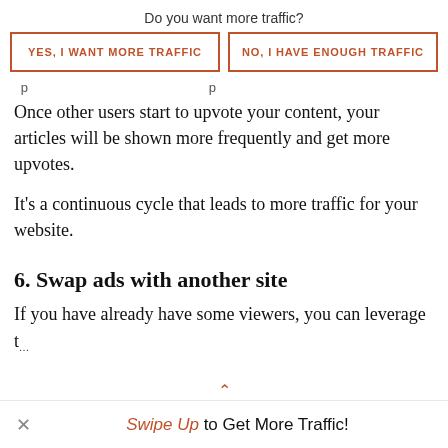Do you want more traffic?
YES, I WANT MORE TRAFFIC
NO, I HAVE ENOUGH TRAFFIC
Once other users start to upvote your content, your articles will be shown more frequently and get more upvotes.
It's a continuous cycle that leads to more traffic for your website.
6. Swap ads with another site
If you have already have some viewers, you can leverage t…
Swipe Up to Get More Traffic!